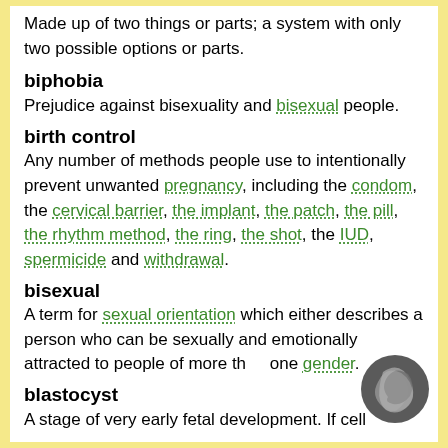Made up of two things or parts; a system with only two possible options or parts.
biphobia
Prejudice against bisexuality and bisexual people.
birth control
Any number of methods people use to intentionally prevent unwanted pregnancy, including the condom, the cervical barrier, the implant, the patch, the pill, the rhythm method, the ring, the shot, the IUD, spermicide and withdrawal.
bisexual
A term for sexual orientation which either describes a person who can be sexually and emotionally attracted to people of more than one gender.
blastocyst
A stage of very early fetal development. If cell
[Figure (logo): Dark grey swirling logo mark]